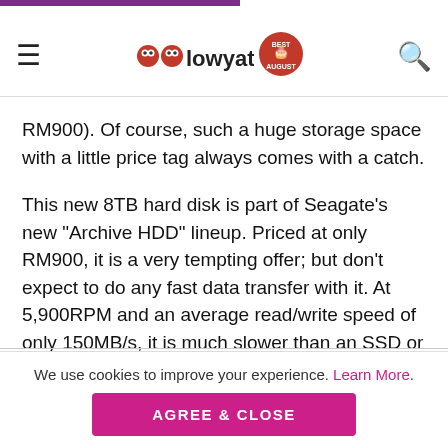lowyat.net — navigation header with logo and hamburger/search icons
RM900). Of course, such a huge storage space with a little price tag always comes with a catch.
This new 8TB hard disk is part of Seagate’s new “Archive HDD” lineup. Priced at only RM900, it is a very tempting offer; but don’t expect to do any fast data transfer with it. At 5,900RPM and an average read/write speed of only 150MB/s, it is much slower than an SSD or even a 7,200RPM hard disk.
ADVERTISEMENT
We use cookies to improve your experience. Learn More.
AGREE & CLOSE